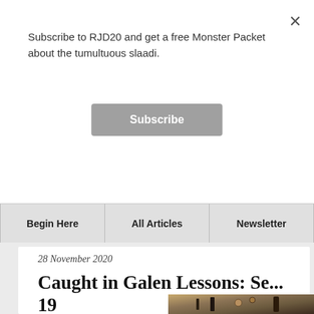Subscribe to RJD20 and get a free Monster Packet about the tumultuous slaadi.
Subscribe
Begin Here  All Articles  Newsletter
28 November 2020
Caught in Galen Lessons: Se... 19